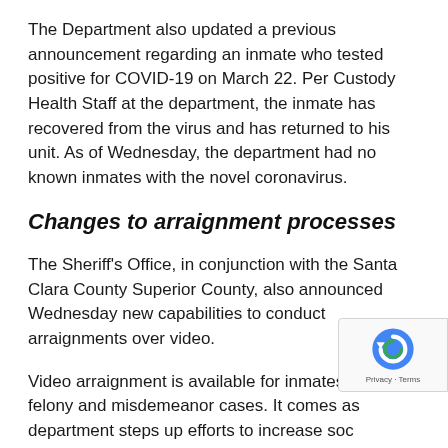The Department also updated a previous announcement regarding an inmate who tested positive for COVID-19 on March 22. Per Custody Health Staff at the department, the inmate has recovered from the virus and has returned to his unit. As of Wednesday, the department had no known inmates with the novel coronavirus.
Changes to arraignment processes
The Sheriff's Office, in conjunction with the Santa Clara County Superior County, also announced Wednesday new capabilities to conduct arraignments over video.
Video arraignment is available for inmates with felony and misdemeanor cases. It comes as department steps up efforts to increase social distancing and limit potential exposure for detention department staff and inmates.